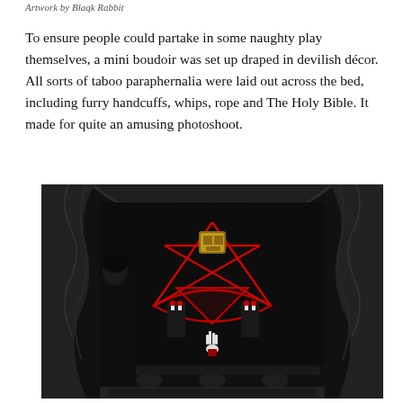Artwork by Blaqk Rabbit
To ensure people could partake in some naughty play themselves, a mini boudoir was set up draped in devilish décor. All sorts of taboo paraphernalia were laid out across the bed, including furry handcuffs, whips, rope and The Holy Bible. It made for quite an amusing photoshoot.
[Figure (photo): A darkly decorated gothic boudoir/altar scene draped in black fabric with a red neon pentagram star on the back wall, candles, a golden skull-like object at the center of the pentagram, and a small skeletal hand figure below. A person in dark clothing stands to the left.]